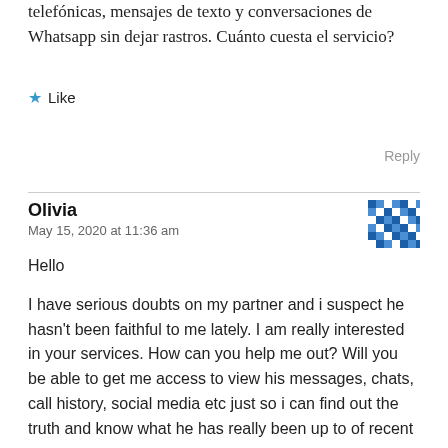telefónicas, mensajes de texto y conversaciones de Whatsapp sin dejar rastros. Cuánto cuesta el servicio?
★ Like
Reply
Olivia
May 15, 2020 at 11:36 am
Hello
I have serious doubts on my partner and i suspect he hasn't been faithful to me lately. I am really interested in your services. How can you help me out? Will you be able to get me access to view his messages, chats, call history, social media etc just so i can find out the truth and know what he has really been up to of recent